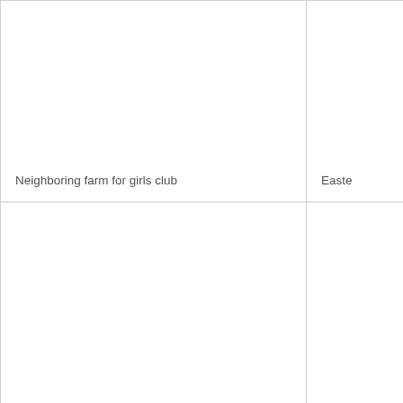| Neighboring farm for girls club | Easte |
|  |  |